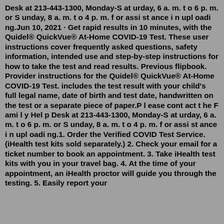Desk at 213-443-1300, Monday-S at urday, 6 a. m. t o 6 p. m. or S unday, 8 a. m. t o 4 p. m. f or assi st ance i n upl oadi ng.Jun 10, 2021 · Get rapid results in 10 minutes, with the Quidel® QuickVue® At-Home COVID-19 Test. These user instructions cover frequently asked questions, safety information, intended use and step-by-step instructions for how to take the test and read results. Previous flipbook. Provider instructions for the Quidel® QuickVue® At-Home COVID-19 Test. includes the test result with your child's full legal name, date of birth and test date, handwritten on the test or a separate piece of paper.P l ease cont act t he F ami l y Hel p Desk at 213-443-1300, Monday-S at urday, 6 a. m. t o 6 p. m. or S unday, 8 a. m. t o 4 p. m. f or assi st ance i n upl oadi ng.1. Order the Verified COVID Test Service. (iHealth test kits sold separately.) 2. Check your email for a ticket number to book an appointment. 3. Take iHealth test kits with you in your travel bag. 4. At the time of your appointment, an iHealth proctor will guide you through the testing. 5. Easily report your